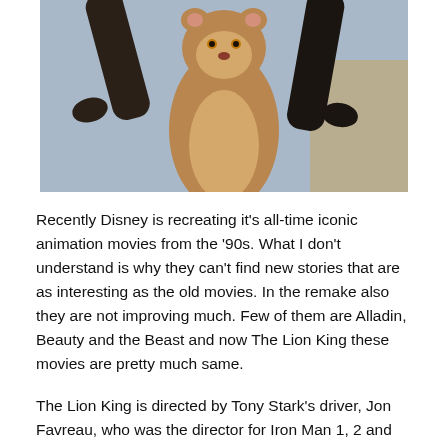[Figure (photo): A lion cub being held up by large dark hands/paws, reminiscent of a scene from The Lion King. Sky and rocky background visible.]
Recently Disney is recreating it's all-time iconic animation movies from the '90s. What I don't understand is why they can't find new stories that are as interesting as the old movies. In the remake also they are not improving much. Few of them are Alladin, Beauty and the Beast and now The Lion King these movies are pretty much same.
The Lion King is directed by Tony Stark's driver, Jon Favreau, who was the director for Iron Man 1, 2 and the Jungle Book remake, which is the only